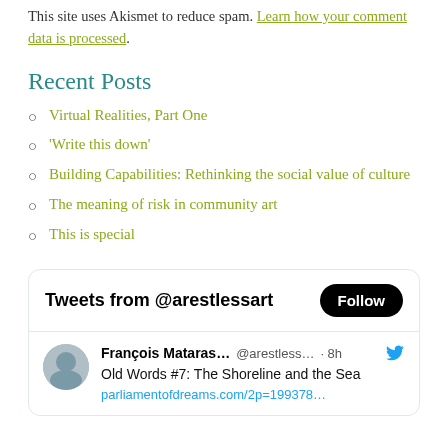This site uses Akismet to reduce spam. Learn how your comment data is processed.
Recent Posts
Virtual Realities, Part One
‘Write this down’
Building Capabilities: Rethinking the social value of culture
The meaning of risk in community art
This is special
[Figure (screenshot): Twitter widget showing 'Tweets from @arestlessart' with a Follow button, and a tweet by François Mataras... @arestless... · 8h with Twitter bird icon, text: 'Old Words #7: The Shoreline and the Sea' and a partial link to parliamentofdreams.com]